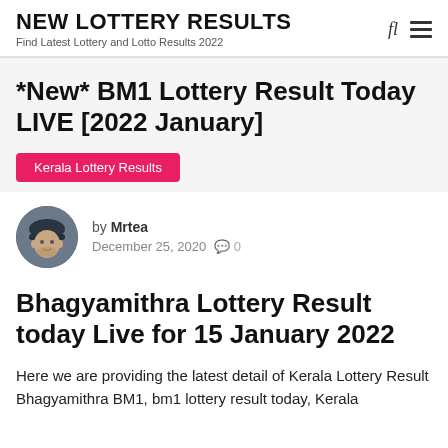NEW LOTTERY RESULTS
Find Latest Lottery and Lotto Results 2022
*New* BM1 Lottery Result Today LIVE [2022 January]
Kerala Lottery Results
by Mrtea
December 25, 2020  0
Bhagyamithra Lottery Result today Live for 15 January 2022
Here we are providing the latest detail of Kerala Lottery Result Bhagyamithra BM1, bm1 lottery result today, Kerala